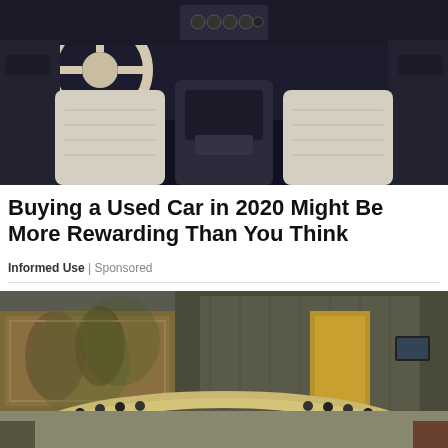[Figure (photo): Luxury car interior with blue ambient lighting, white leather seats, steering wheel, dashboard, and center console viewed from rear]
Buying a Used Car in 2020 Might Be More Rewarding Than You Think
Informed Use | Sponsored
[Figure (photo): UN Security Council chamber with delegates seated around curved table, large mural in background, wood paneling]